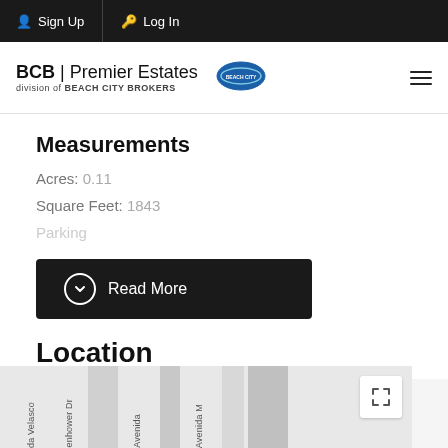Sign Up  Log In
[Figure (logo): BCB Premier Estates logo with Beach City Brokers subtitle and circular emblem]
Measurements
Acres: 0.11
Square Feet: 1843
Parking
Read More
Location
[Figure (map): Map showing streets including da Herrera, da Velasco, enhower Dr, Avenida, Avenida M with expand button]